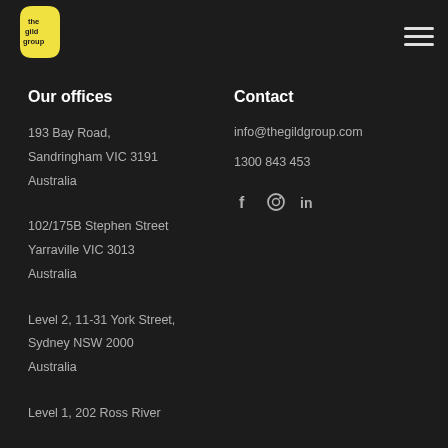[Figure (logo): The Gild Group logo — yellow rounded shape with black text 'the gild group']
[Figure (other): Hamburger menu icon with three horizontal white lines]
Our offices
193 Bay Road,
Sandringham VIC 3191
Australia
102/175B Stephen Street
Yarraville VIC 3013
Australia
Level 2, 11-31 York Street,
Sydney NSW 2000
Australia
Level 1, 202 Ross River
Contact
info@thegildgroup.com
1300 843 453
[Figure (other): Social media icons: Facebook (f), Instagram (circle), LinkedIn (in)]